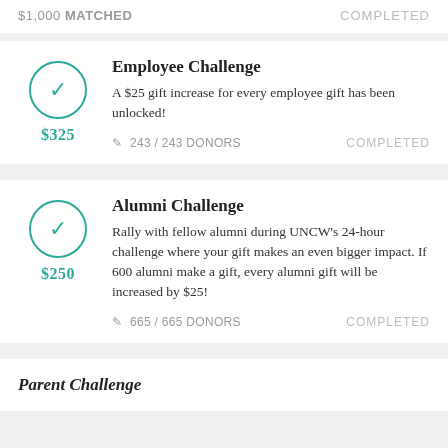$1,000 MATCHED    COMPLETED
Employee Challenge
A $25 gift increase for every employee gift has been unlocked!
243 / 243 DONORS    COMPLETED
Alumni Challenge
Rally with fellow alumni during UNCW's 24-hour challenge where your gift makes an even bigger impact. If 600 alumni make a gift, every alumni gift will be increased by $25!
665 / 665 DONORS    COMPLETED
Parent Challenge